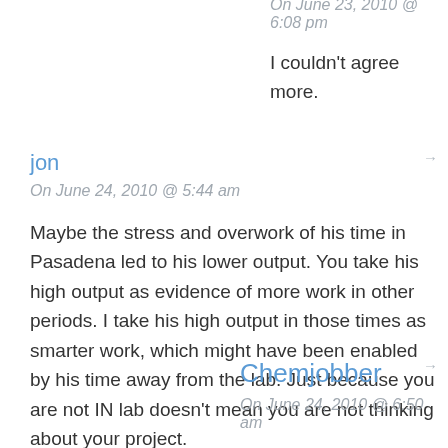On June 23, 2010 @ 6:08 pm
I couldn't agree more.
jon
On June 24, 2010 @ 5:44 am
Maybe the stress and overwork of his time in Pasadena led to his lower output. You take his high output as evidence of more work in other periods. I take his high output in those times as smarter work, which might have been enabled by his time away from the lab. Just because you are not IN lab doesn't mean you are not thinking about your project.
Chemjobber
On June 24, 2010 @ 6:50 am